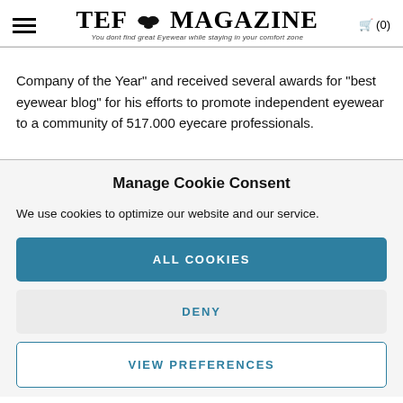TEF MAGAZINE – You dont find great Eyewear while staying in your comfort zone
Company of the Year" and received several awards for "best eyewear blog" for his efforts to promote independent eyewear to a community of 517.000 eyecare professionals.
Manage Cookie Consent
We use cookies to optimize our website and our service.
ALL COOKIES
DENY
VIEW PREFERENCES